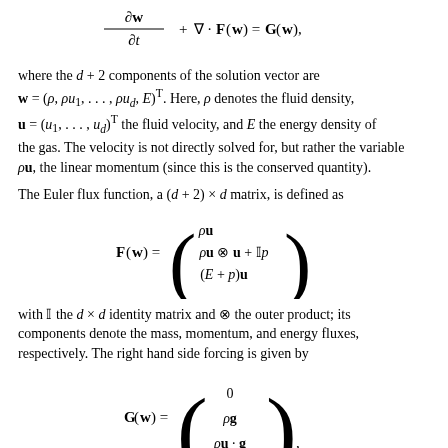where the d + 2 components of the solution vector are w = (ρ, ρu₁, ..., ρu_d, E)^T. Here, ρ denotes the fluid density, u = (u₁, ..., u_d)^T the fluid velocity, and E the energy density of the gas. The velocity is not directly solved for, but rather the variable ρu, the linear momentum (since this is the conserved quantity).
The Euler flux function, a (d + 2) × d matrix, is defined as
with 𝕀 the d × d identity matrix and ⊗ the outer product; its components denote the mass, momentum, and energy fluxes, respectively. The right hand side forcing is given by